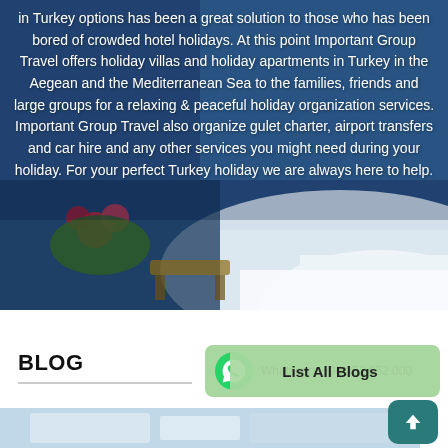[Figure (photo): Hero image showing a Mediterranean/Aegean holiday scene with white architecture, flowers, and a person sitting on a terrace with a blue sky and sea background. Text overlay describes Turkey holiday villa and apartment offerings by Important Group Travel.]
in Turkey options has been a great solution to those who has been bored of crowded hotel holidays. At this point Important Group Travel offers holiday villas and holiday apartments in Turkey in the Aegean and the Mediterranean Sea to the families, friends and large groups for a relaxing & peaceful holiday organization services. Important Group Travel also organize gulet charter, airport transfers and car hire and any other services you might need during your holiday. For your perfect Turkey holiday we are always here to help.
BLOG
List All Blogs
Whatsapp: +90...
[Figure (photo): Partial view of a Mediterranean holiday scene at the bottom of the page.]